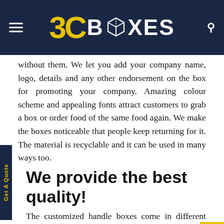[Figure (logo): BC Boxes logo on dark navy background with hamburger menu on left and search icon on right]
without them. We let you add your company name, logo, details and any other endorsement on the box for promoting your company. Amazing colour scheme and appealing fonts attract customers to grab a box or order food of the same food again. We make the boxes noticeable that people keep returning for it. The material is recyclable and it can be used in many ways too.
We provide the best quality!
The customized handle boxes come in different sizes, shapes, length, and handles. These boxes can be used for any purpose. These finest looking boxes designed will transform your business image and get you more valuable customers. We